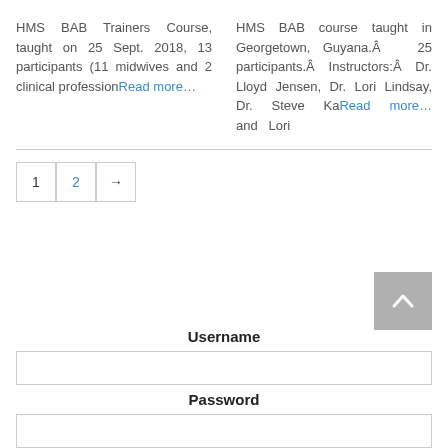HMS BAB Trainers Course, taught on 25 Sept. 2018, 13 participants (11 midwives and 2 clinical profession… Read more…
HMS BAB course taught in Georgetown, Guyana.Â 25 participants.Â Instructors:Â Dr. Lloyd Jensen, Dr. Lori Lindsay, Dr. Steve Ka… Read more… and Lori
1
2
→
Username
Password